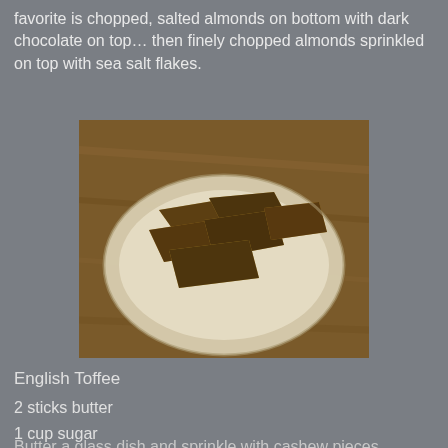favorite is chopped, salted almonds on bottom with dark chocolate on top… then finely chopped almonds sprinkled on top with sea salt flakes.
[Figure (photo): A white plate on a wooden table holding pieces of English toffee coated with dark chocolate, showing a layered candy bark with nuts.]
English Toffee
2 sticks butter
1 cup sugar
pinch salt
Salted  cashew pieces
Milk chocolate chips
Butter a glass dish and sprinkle with cashew pieces...